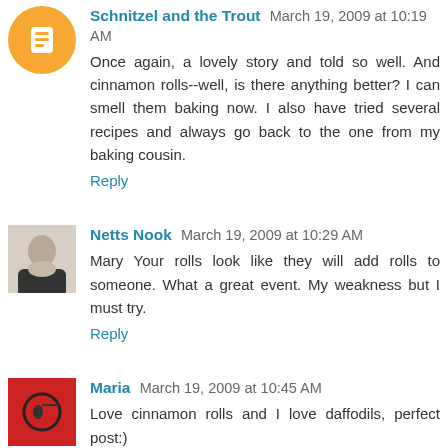Schnitzel and the Trout March 19, 2009 at 10:19 AM
Once again, a lovely story and told so well. And cinnamon rolls--well, is there anything better? I can smell them baking now. I also have tried several recipes and always go back to the one from my baking cousin.
Reply
Netts Nook March 19, 2009 at 10:29 AM
Mary Your rolls look like they will add rolls to someone. What a great event. My weakness but I must try.
Reply
Maria March 19, 2009 at 10:45 AM
Love cinnamon rolls and I love daffodils, perfect post:)
Reply
Deborah March 19, 2009 at 11:20 AM